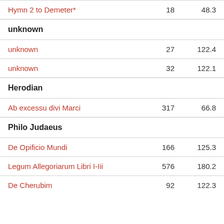| Work |  |  |
| --- | --- | --- |
| Hymn 2 to Demeter* | 18 | 48.3 |
| unknown |  |  |
| unknown | 27 | 122.4 |
| unknown | 32 | 122.1 |
| Herodian |  |  |
| Ab excessu divi Marci | 317 | 66.8 |
| Philo Judaeus |  |  |
| De Opificio Mundi | 166 | 125.3 |
| Legum Allegoriarum Libri I-Iii | 576 | 180.2 |
| De Cherubim | 92 | 122.3 |